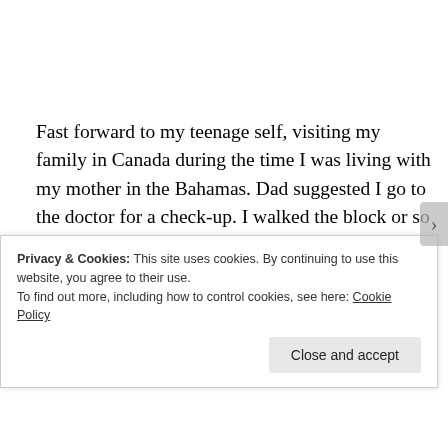Fast forward to my teenage self, visiting my family in Canada during the time I was living with my mother in the Bahamas. Dad suggested I go to the doctor for a check-up. I walked the block or so to the doctor's office and he told me I needed a shot that I was not up-to-date on. I told him I had a fear, no phobia, of needles. By this point I assumed my fear was irrational, considering that vaccination was a
Privacy & Cookies: This site uses cookies. By continuing to use this website, you agree to their use.
To find out more, including how to control cookies, see here: Cookie Policy